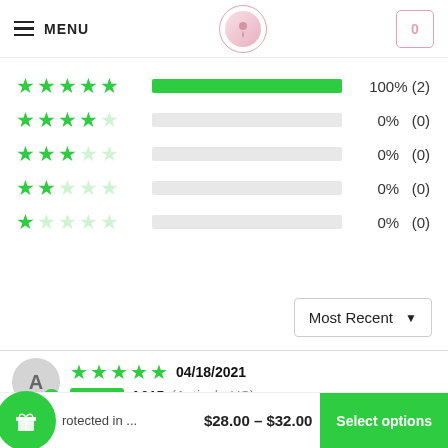MENU | [logo] | [cart: 0]
[Figure (bar-chart): Star ratings distribution]
Most Recent ▼
A615 (Antioch, US) — 04/18/2021 — Verified — 5 stars
AKAwesome!!!
rotected in ... $28.00 – $32.00  Select options